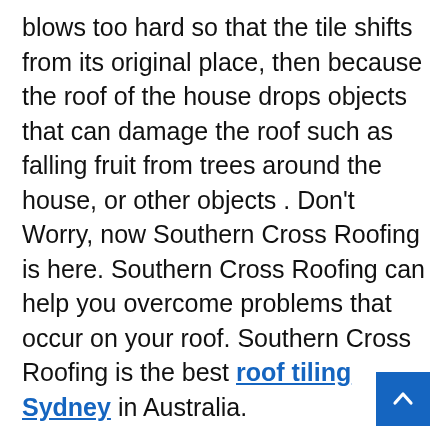blows too hard so that the tile shifts from its original place, then because the roof of the house drops objects that can damage the roof such as falling fruit from trees around the house, or other objects . Don't Worry, now Southern Cross Roofing is here. Southern Cross Roofing can help you overcome problems that occur on your roof. Southern Cross Roofing is the best roof tiling Sydney in Australia.
Therefore, you must check regularly. If you have a shady tree that is close to the roof of your house, it should be tidied up immediately so that the branches do not dangle near the roof of your house. For more complete tips, please refer to the following tips: